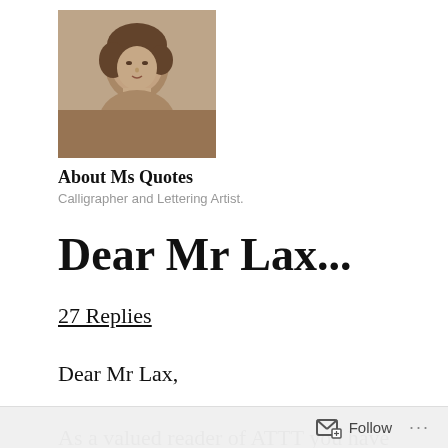[Figure (photo): Sepia-toned vintage portrait photo of a woman with short curly hair, used as an avatar/profile picture for Ms Quotes]
About Ms Quotes
Calligrapher and Lettering Artist.
Dear Mr Lax...
27 Replies
Dear Mr Lax,

As a valued reader of ATTT you have been randomly selected, at random, in a haphazard, random way to WIN a
Follow ...